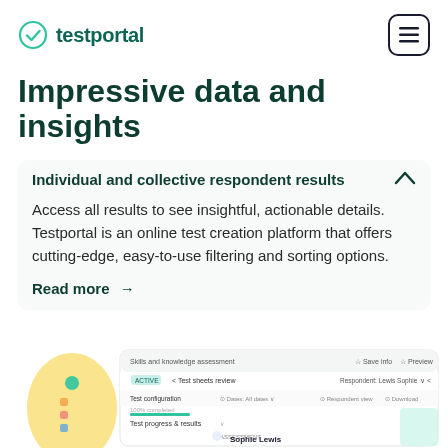testportal
Impressive data and insights
Individual and collective respondent results
Access all results to see insightful, actionable details. Testportal is an online test creation platform that offers cutting-edge, easy-to-use filtering and sorting options.
Read more →
[Figure (screenshot): Screenshot of Testportal interface showing Skills and knowledge assessment results page with respondent Lewis Sophie, test configuration 100% completed, and test progress & results panel showing Sophie Lewis.]